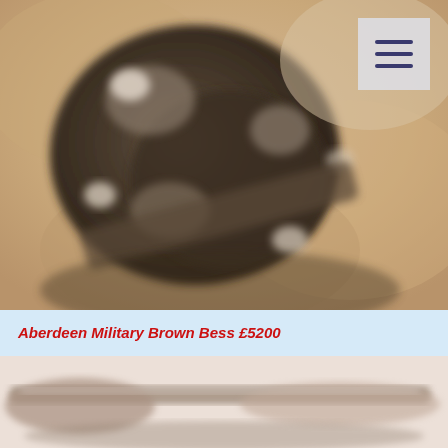[Figure (photo): Close-up blurred photograph of an antique military Brown Bess musket lock mechanism, showing metal parts in brown and bronze tones against a warm beige background.]
Aberdeen Military Brown Bess £5200
[Figure (photo): Partial blurred photograph of an antique long gun or musket, shown horizontally against a light background, partially visible at bottom of page.]